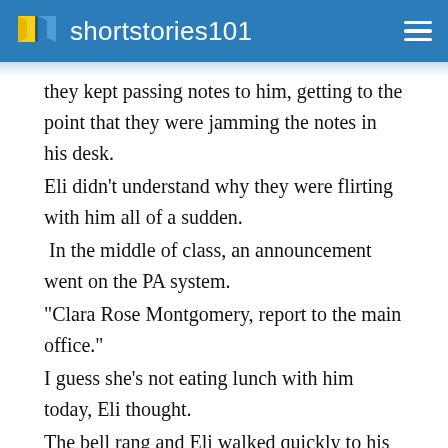shortstories101
they kept passing notes to him, getting to the point that they were jamming the notes in his desk.
Eli didn't understand why they were flirting with him all of a sudden.
In the middle of class, an announcement went on the PA system.
"Clara Rose Montgomery, report to the main office."
I guess she's not eating lunch with him today, Eli thought.
The bell rang and Eli walked quickly to his locker.
There was no point in fake eating anymore